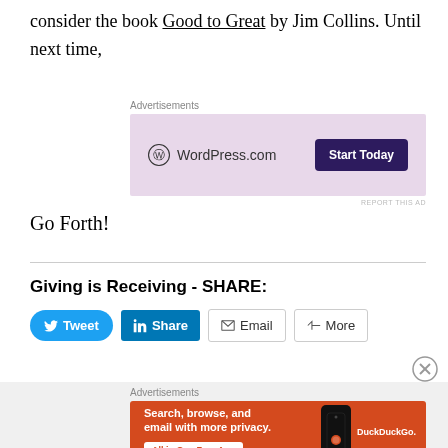consider the book Good to Great by Jim Collins. Until next time,
[Figure (other): WordPress.com advertisement with purple background and 'Start Today' button]
Go Forth!
Giving is Receiving - SHARE:
[Figure (other): Social share buttons: Tweet, Share (LinkedIn), Email, More]
[Figure (other): DuckDuckGo advertisement: Search, browse, and email with more privacy. All in One Free App]